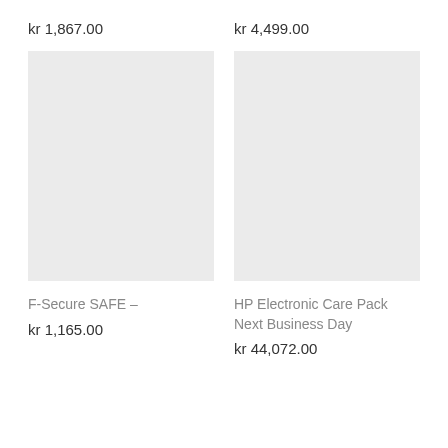kr 1,867.00
kr 4,499.00
[Figure (other): Light gray placeholder product image square, left column]
[Figure (other): Light gray placeholder product image square, right column]
F-Secure SAFE –
kr 1,165.00
HP Electronic Care Pack Next Business Day
kr 44,072.00